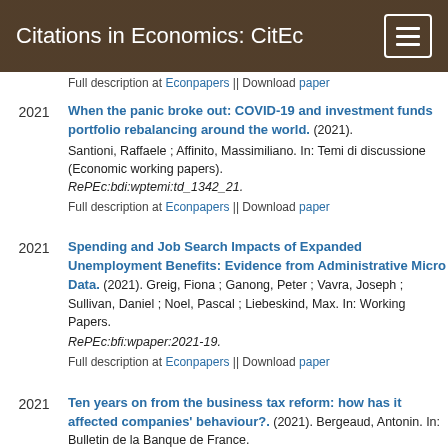Citations in Economics: CitEc
Full description at Econpapers || Download paper
When the panic broke out: COVID-19 and investment funds portfolio rebalancing around the world. (2021). Santioni, Raffaele ; Affinito, Massimiliano. In: Temi di discussione (Economic working papers). RePEc:bdi:wptemi:td_1342_21. Full description at Econpapers || Download paper
Spending and Job Search Impacts of Expanded Unemployment Benefits: Evidence from Administrative Micro Data. (2021). Greig, Fiona ; Ganong, Peter ; Vavra, Joseph ; Sullivan, Daniel ; Noel, Pascal ; Liebeskind, Max. In: Working Papers. RePEc:bfi:wpaper:2021-19. Full description at Econpapers || Download paper
Ten years on from the business tax reform: how has it affected companies' behaviour?. (2021). Bergeaud, Antonin. In: Bulletin de la Banque de France.